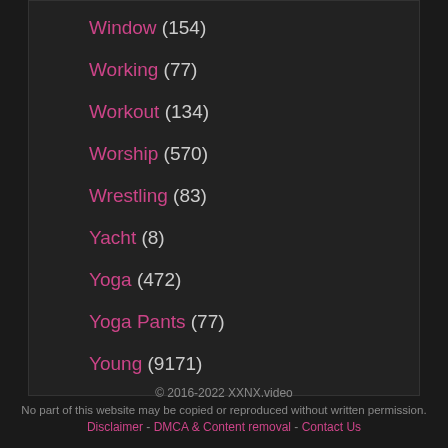Window (154)
Working (77)
Workout (134)
Worship (570)
Wrestling (83)
Yacht (8)
Yoga (472)
Yoga Pants (77)
Young (9171)
© 2016-2022 XXNX.video
No part of this website may be copied or reproduced without written permission.
Disclaimer - DMCA & Content removal - Contact Us